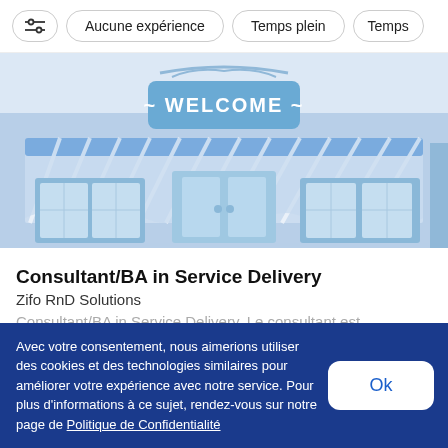[Figure (screenshot): Filter bar with icons and filter buttons: settings icon, Aucune expérience, Temps plein, Temps (partial)]
[Figure (illustration): Blue illustrated storefront with a 'WELCOME' sign and striped awning]
Consultant/BA in Service Delivery
Zifo RnD Solutions
Consultant/BA in Service Delivery. Le consultant est
Avec votre consentement, nous aimerions utiliser des cookies et des technologies similaires pour améliorer votre expérience avec notre service. Pour plus d'informations à ce sujet, rendez-vous sur notre page de Politique de Confidentialité